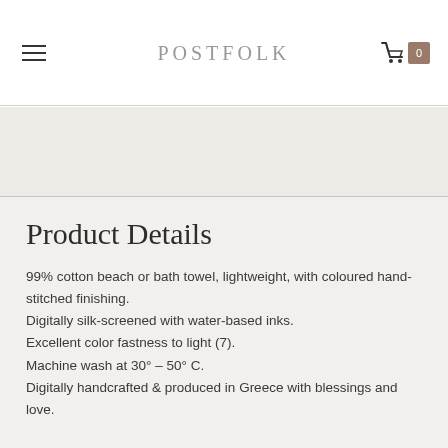POSTFOLK
[Figure (other): Light beige/tan image band showing a partial product image]
Product Details
99% cotton beach or bath towel, lightweight, with coloured hand-stitched finishing.
Digitally silk-screened with water-based inks.
Excellent color fastness to light (7).
Machine wash at 30° – 50° C.
Digitally handcrafted & produced in Greece with blessings and love.